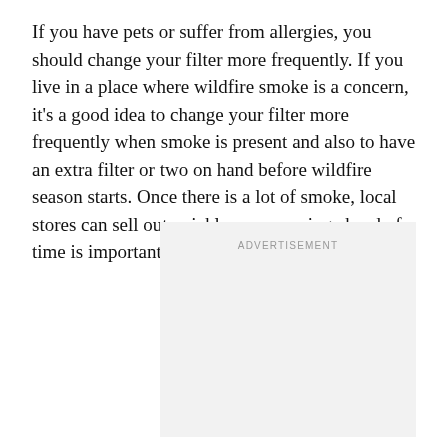If you have pets or suffer from allergies, you should change your filter more frequently. If you live in a place where wildfire smoke is a concern, it's a good idea to change your filter more frequently when smoke is present and also to have an extra filter or two on hand before wildfire season starts. Once there is a lot of smoke, local stores can sell out quickly, so preparing ahead of time is important.
[Figure (other): Advertisement placeholder box with light gray background and centered 'ADVERTISEMENT' label text]